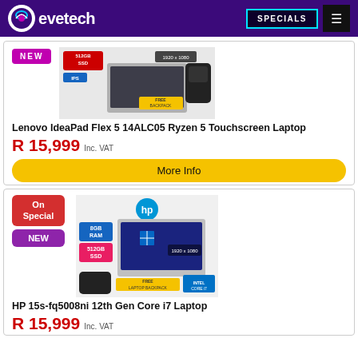evetech — SPECIALS
[Figure (screenshot): Lenovo IdeaPad Flex 5 14ALC05 laptop product image with 512GB SSD, IPS, 1920x1080, Ryzen badges and FREE Backpack]
Lenovo IdeaPad Flex 5 14ALC05 Ryzen 5 Touchscreen Laptop
R 15,999 Inc. VAT
More Info
[Figure (screenshot): HP 15s-fq5008ni laptop product image with 8GB RAM, 512GB SSD, 1920x1080, Intel Core i7, FREE Laptop Backpack, HP logo]
HP 15s-fq5008ni 12th Gen Core i7 Laptop
R 15,999 Inc. VAT